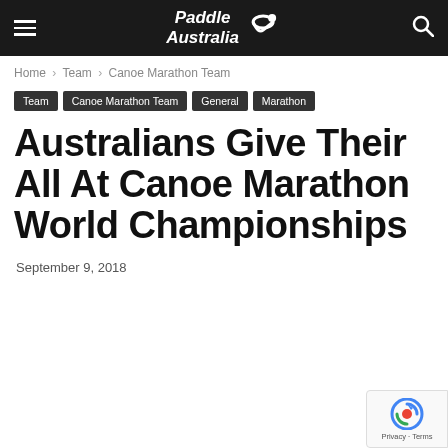Paddle Australia
Home › Team › Canoe Marathon Team
Team
Canoe Marathon Team
General
Marathon
Australians Give Their All At Canoe Marathon World Championships
September 9, 2018